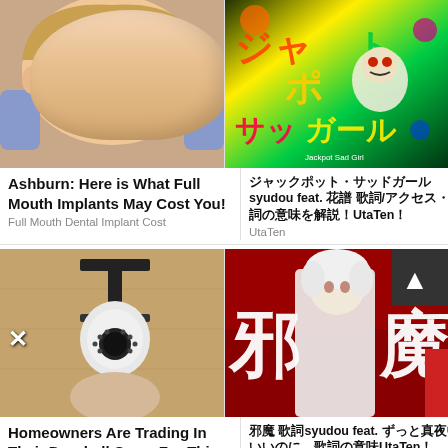[Figure (photo): Woman smiling at dentist with dental tools near her mouth, purple gloved hands visible]
Ashburn: Here is What Full Mouth Implants May Cost You!
Full Mouth Dental Implant Cost
[Figure (screenshot): Anime artwork with Japanese text and colorful characters, Jackpot Sad Girl]
ジャックポット・サッドガール syudou feat. 花譜 歌詞/アクセス・歌詞の意味を解説！UtaTen！
UtaTen
[Figure (photo): Security camera mounted on a wall, held by a hand]
Homeowners Are Trading In Their Doorbell Cams For This
Camerca
[Figure (screenshot): Anime character with white hair in white coat, red background with Japanese kanji 邪 and 魔, scroll-up button overlay]
邪魔 歌詞syudou feat. ずっと真夜中でいいのに。歌詞の意味UtaTen！
UtaTen